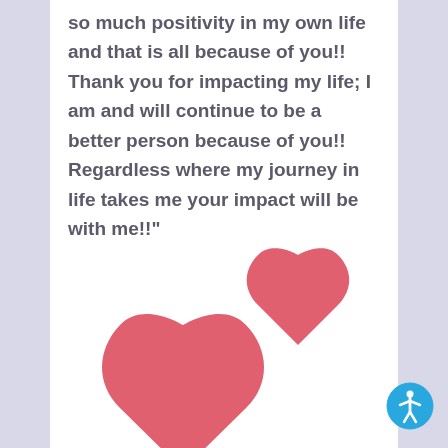so much positivity in my own life and that is all because of you!! Thank you for impacting my life; I am and will continue to be a better person because of you!! Regardless where my journey in life takes me your impact will be with me!!”
[Figure (illustration): Two pink/red heart emojis — one larger in the lower-left area and one slightly smaller in the upper-right area]